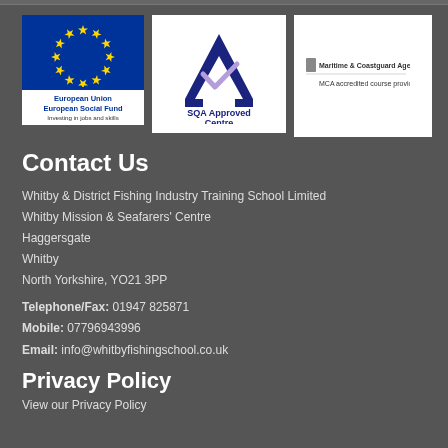[Figure (logo): European Union European Social Fund logo with blue background and gold stars circle, white text block at bottom]
[Figure (logo): SQA Approved Centre logo with dark blue A shape and purple checkmark]
[Figure (logo): Maritime and Coastguard Agency MCA accredited course provider logo]
Contact Us
Whitby & District Fishing Industry Training School Limited
Whitby Mission & Seafarers' Centre
Haggersgate
Whitby
North Yorkshire, YO21 3PP
Telephone/Fax: 01947 825871
Mobile: 07796943996
Email: info@whitbyfishingschool.co.uk
Privacy Policy
View our Privacy Policy